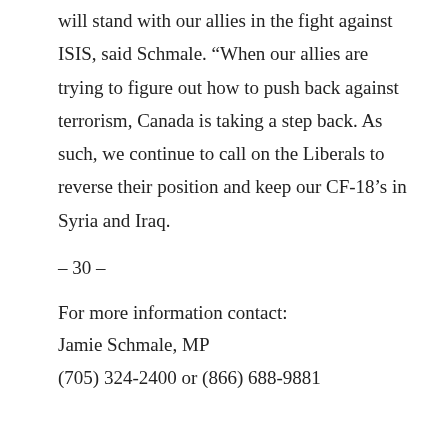will stand with our allies in the fight against ISIS, said Schmale. “When our allies are trying to figure out how to push back against terrorism, Canada is taking a step back. As such, we continue to call on the Liberals to reverse their position and keep our CF-18’s in Syria and Iraq.
- 30 -
For more information contact:
Jamie Schmale, MP
(705) 324-2400 or (866) 688-9881